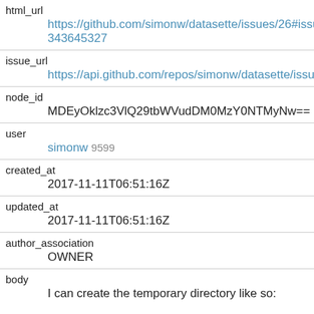| html_url | https://github.com/simonw/datasette/issues/26#issue343645327 |
| issue_url | https://api.github.com/repos/simonw/datasette/issues... |
| node_id | MDEyOklzc3VlQ29tbWVudDM0MzY0NTMyNw== |
| user | simonw 9599 |
| created_at | 2017-11-11T06:51:16Z |
| updated_at | 2017-11-11T06:51:16Z |
| author_association | OWNER |
| body | I can create the temporary directory like so:

import tempfile
t = tempfile.TemporaryDirectory()
t |